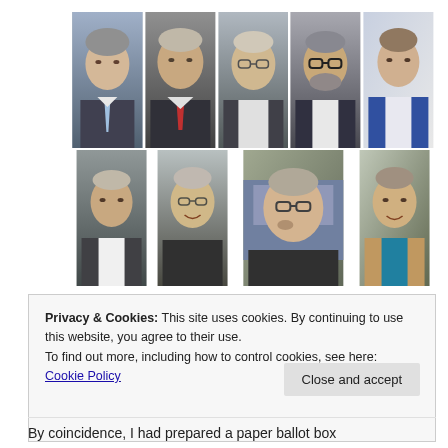[Figure (photo): Grid of 9 portrait photos of men, arranged in two rows: 5 in top row and 4 in bottom row, showing various middle-aged to older men in business attire.]
Privacy & Cookies: This site uses cookies. By continuing to use this website, you agree to their use.
To find out more, including how to control cookies, see here: Cookie Policy
Close and accept
By coincidence, I had prepared a paper ballot box